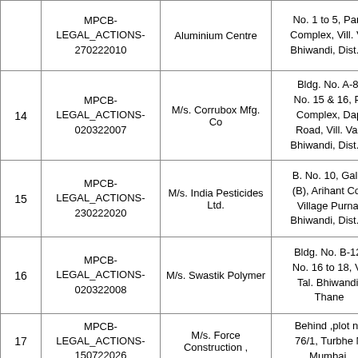| Sr. No. | Case ID | Party Name | Address |
| --- | --- | --- | --- |
|  | MPCB-LEGAL_ACTIONS-270222010 | Aluminium Centre | No. 1 to 5, Para Complex, Vill. Va Bhiwandi, Dist. T |
| 14 | MPCB-LEGAL_ACTIONS-020322007 | M/s. Corrubox Mfg. Co | Bldg. No. A-8, No. 15 & 16, Pr Complex, Dap Road, Vill. Val, Bhiwandi, Dist. T |
| 15 | MPCB-LEGAL_ACTIONS-230222020 | M/s. India Pesticides Ltd. | B. No. 10, Gala. (B), Arihant Con Village Purna, Bhiwandi, Dist. T |
| 16 | MPCB-LEGAL_ACTIONS-020322008 | M/s. Swastik Polymer | Bldg. No. B-12, No. 16 to 18, Vil Tal. Bhiwandi, Thane |
| 17 | MPCB-LEGAL_ACTIONS-150722026 | M/s. Force Construction , | Behind ,plot no 76/1, Turbhe N Mumbai, |